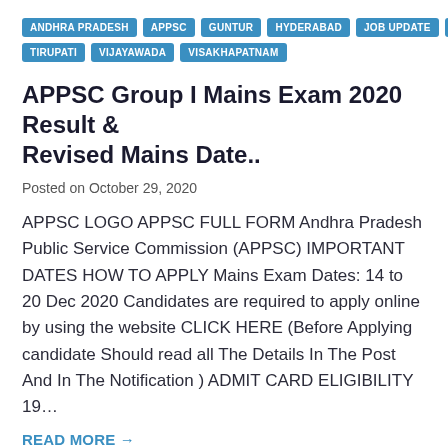ANDHRA PRADESH | APPSC | GUNTUR | HYDERABAD | JOB UPDATE | NELLORE | TIRUPATI | VIJAYAWADA | VISAKHAPATNAM
APPSC Group I Mains Exam 2020 Result & Revised Mains Date..
Posted on October 29, 2020
APPSC LOGO APPSC FULL FORM Andhra Pradesh Public Service Commission (APPSC) IMPORTANT DATES HOW TO APPLY Mains Exam Dates: 14 to 20 Dec 2020 Candidates are required to apply online by using the website CLICK HERE (Before Applying candidate Should read all The Details In The Post And In The Notification ) ADMIT CARD ELIGIBILITY 19…
READ MORE →